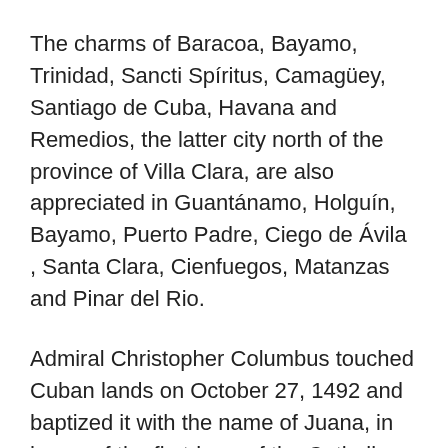The charms of Baracoa, Bayamo, Trinidad, Sancti Spíritus, Camagüey, Santiago de Cuba, Havana and Remedios, the latter city north of the province of Villa Clara, are also appreciated in Guantánamo, Holguín, Bayamo, Puerto Padre, Ciego de Ávila , Santa Clara, Cienfuegos, Matanzas and Pinar del Rio.
Admiral Christopher Columbus touched Cuban lands on October 27, 1492 and baptized it with the name of Juana, in honor of the first-born of the Catholic Monarchs. It was on his first voyage that he landed in the East, and on the second he traveled the southern coast, advancing far to the West. Columbus went to his grave believing that Cuba was not an island, but was part of the continent. It was up to Sebastián Ocampo to confirm that this hypothesis was wrong, after making the first complete